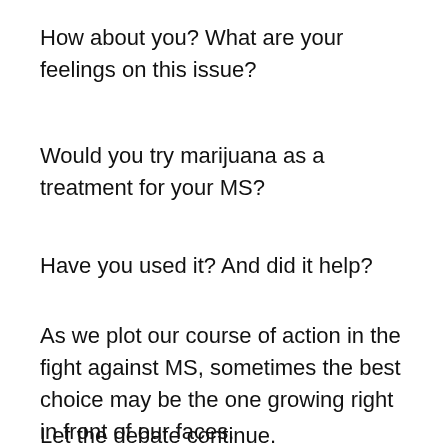How about you? What are your feelings on this issue?
Would you try marijuana as a treatment for your MS?
Have you used it?  And did it help?
As we plot our course of action in the fight against MS, sometimes the best choice may be the one growing right in front of our faces.
Let the debate continue.